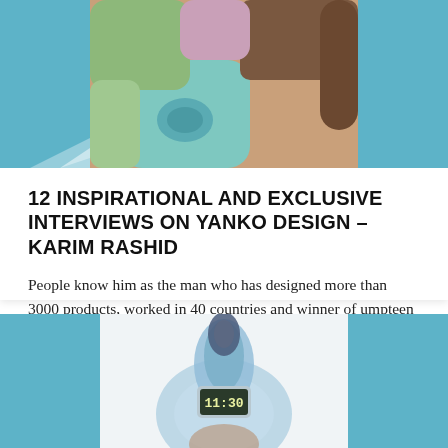[Figure (photo): Colorful rounded wooden toy blocks photographed close-up with teal/blue side panels on left and right]
12 INSPIRATIONAL AND EXCLUSIVE INTERVIEWS ON YANKO DESIGN – KARIM RASHID
People know him as the man who has designed more than 3000 products, worked in 40 countries and winner of umpteen awards. Lucky Guy? NO!…
INTERVIEW
[Figure (photo): A translucent blue ring-shaped digital watch/clock showing 11:30, held in a hand, with teal side panels on left and right]